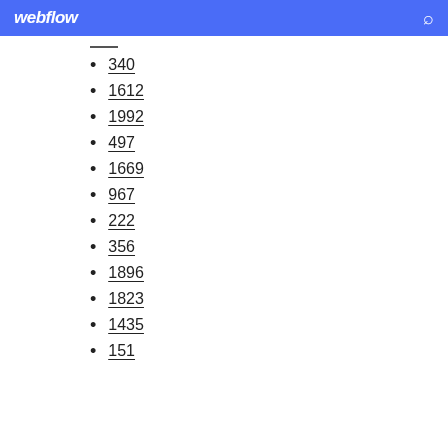webflow
340
1612
1992
497
1669
967
222
356
1896
1823
1435
151